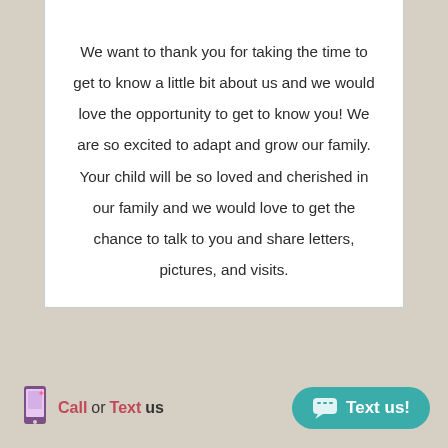We want to thank you for taking the time to get to know a little bit about us and we would love the opportunity to get to know you! We are so excited to adapt and grow our family. Your child will be so loved and cherished in our family and we would love to get the chance to talk to you and share letters, pictures, and visits.
Call or Text us